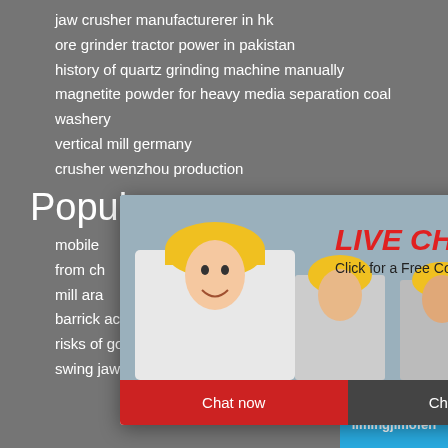jaw crusher manufacturerer in hk
ore grinder tractor power in pakistan
history of quartz grinding machine manually
magnetite powder for heavy media separation coal washery
vertical mill germany
crusher wenzhou production
Popular
mobile
from ch
mill ara
barrick acquisition equinox
risks of gold mining in zimbabwe
swing jaw for parker crushers
[Figure (screenshot): Live chat popup overlay with workers in hard hats background image, red LIVE CHAT heading, 'Click for a Free Consultation' subtitle, Chat now (red) and Chat later (dark) buttons]
[Figure (screenshot): Right sidebar with blue background showing 'hour online' text, machinery image, 'Click me to chat>>' button, 'Enquiry' section, and 'limingjlmofen' text]